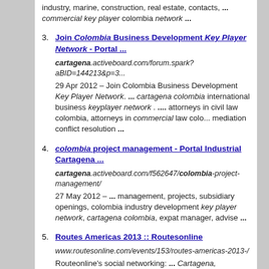industry, marine, construction, real estate, contacts, ... commercial key player colombia network ...
3. Join Colombia Business Development Key Player Network - Portal ...
cartagena.activeboard.com/forum.spark?aBID=144213&p=3...
29 Apr 2012 – Join Colombia Business Development Key Player Network. ... cartagena colombia international business keyplayer network . .... attorneys in civil law colombia, attorneys in commercial law colo... mediation conflict resolution ...
4. colombia project management - Portal Industrial Cartagena ...
cartagena.activeboard.com/f562647/colombia-project-management/
27 May 2012 – ... management, projects, subsidiary openings, colombia industry development key player network, cartagena colombia, expat manager, advise ...
5. Routes Americas 2013 :: Routesonline
www.routesonline.com/events/153/routes-americas-2013-/
Routeonline's social networking: ... Cartagena, Colombia - 10 February 2013 to 12 February 2013. The 8th Routesonline...